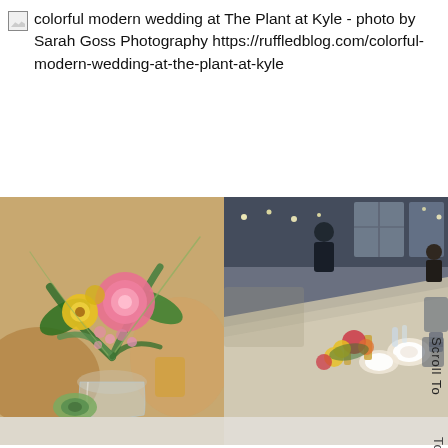colorful modern wedding at The Plant at Kyle - photo by Sarah Goss Photography https://ruffledblog.com/colorful-modern-wedding-at-the-plant-at-kyle
[Figure (photo): Two wedding reception photos side by side. Left: a floral centerpiece in a glass jar featuring pink roses, yellow flowers, pink waxflower, and green foliage with a succulent, set on a table with warm bokeh background. Right: a long reception dining table with colorful floral centerpieces, gold accents, glassware, and guests in the background in an industrial venue with large windows and string lights.]